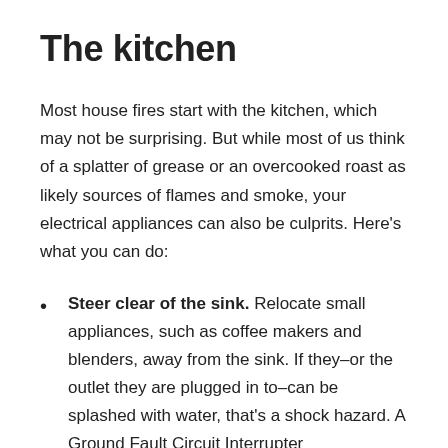The kitchen
Most house fires start with the kitchen, which may not be surprising. But while most of us think of a splatter of grease or an overcooked roast as likely sources of flames and smoke, your electrical appliances can also be culprits. Here’s what you can do:
Steer clear of the sink. Relocate small appliances, such as coffee makers and blenders, away from the sink. If they–or the outlet they are plugged in to–can be splashed with water, that’s a shock hazard. A Ground Fault Circuit Interrupter